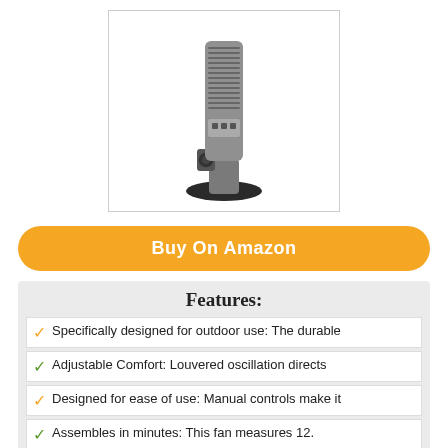[Figure (photo): Tower fan product photo — a tall slim gray tower fan with a circular base, shown on white background inside a bordered box]
Buy On Amazon
Features:
Specifically designed for outdoor use: The durable
Adjustable Comfort: Louvered oscillation directs
Designed for ease of use: Manual controls make it
Assembles in minutes: This fan measures 12.
Reliable performance: This ETL listed fan comes
3. B-AIR FIRTANA-20X HIGH VELOCITY